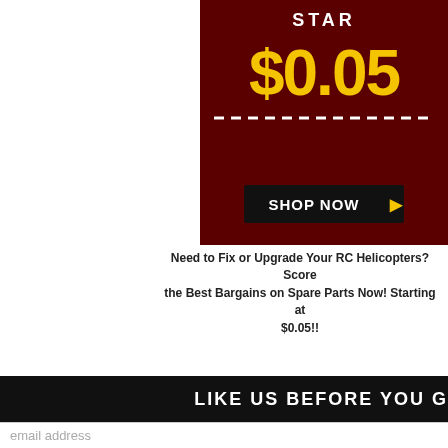[Figure (screenshot): Promotional banner on dark red background showing '$0.05' in large yellow text, 'STARTS' text at top, dashed white line, and 'SHOP NOW' button with arrow.]
Need to Fix or Upgrade Your RC Helicopters? Score the Best Bargains on Spare Parts Now! Starting at $0.05!!
LIKE US BEFORE YOU G
Subscribe to
email address
About Us
Help & Support